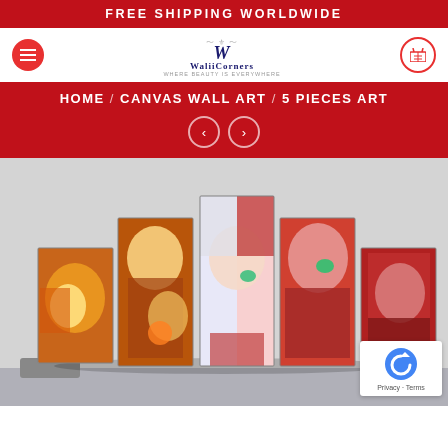FREE SHIPPING WORLDWIDE
[Figure (logo): WaliiCorners logo with decorative W and brand name]
HOME / CANVAS WALL ART / 5 PIECES ART
[Figure (photo): 5-panel anime canvas wall art featuring two characters - one with fire power and one with dual red/white hair, displayed on a wall above a couch]